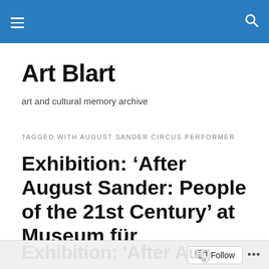Art Blart — navigation header bar
Art Blart
art and cultural memory archive
TAGGED WITH AUGUST SANDER CIRCUS PERFORMER
Exhibition: ‘After August Sander: People of the 21st Century’ at Museum für Gegenwartskunst Siegen
Follow ...